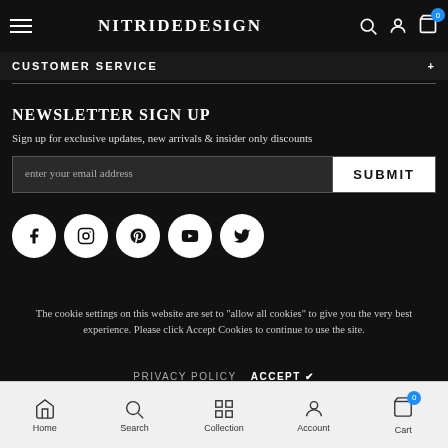NITRIDEDESIGN
CUSTOMER SERVICE
NEWSLETTER SIGN UP
Sign up for exclusive updates, new arrivals & insider only discounts
enter your email address  SUBMIT
[Figure (infographic): Social media icons: Facebook, Instagram, Pinterest, YouTube, Twitter — white circles on dark background]
The cookie settings on this website are set to "allow all cookies" to give you the very best experience. Please click Accept Cookies to continue to use the site.
PRIVACY POLICY   ACCEPT ✔
Home   Search   Collection   Account   Cart